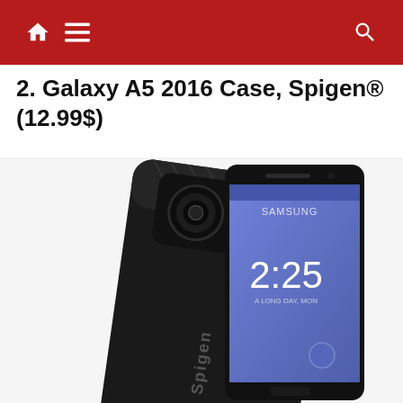Home | Menu | Search
2. Galaxy A5 2016 Case, Spigen® (12.99$)
[Figure (photo): Product photo of Samsung Galaxy A5 2016 in a Spigen black rugged armor case, shown from the back and front angles. The back case is matte black with carbon fiber texture accents and Spigen branding. The front shows the Samsung screen displaying 2:25 time.]